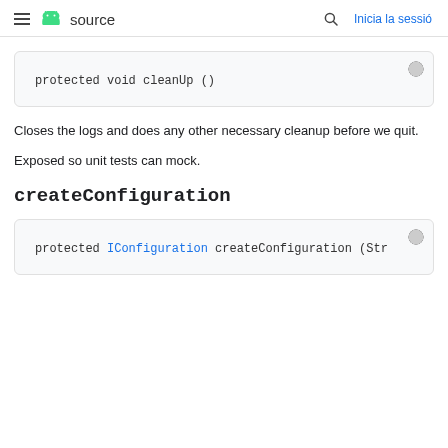≡ source  🔍  Inicia la sessió
protected void cleanUp ()
Closes the logs and does any other necessary cleanup before we quit.
Exposed so unit tests can mock.
createConfiguration
protected IConfiguration createConfiguration (Str